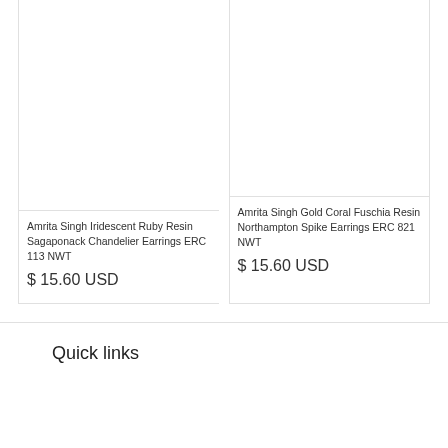[Figure (photo): Product image area for Amrita Singh Iridescent Ruby Resin Sagaponack Chandelier Earrings (blank/white)]
Amrita Singh Iridescent Ruby Resin Sagaponack Chandelier Earrings ERC 113 NWT
$ 15.60 USD
[Figure (photo): Product image area for Amrita Singh Gold Coral Fuschia Resin Northampton Spike Earrings (blank/white)]
Amrita Singh Gold Coral Fuschia Resin Northampton Spike Earrings ERC 821 NWT
$ 15.60 USD
Quick links